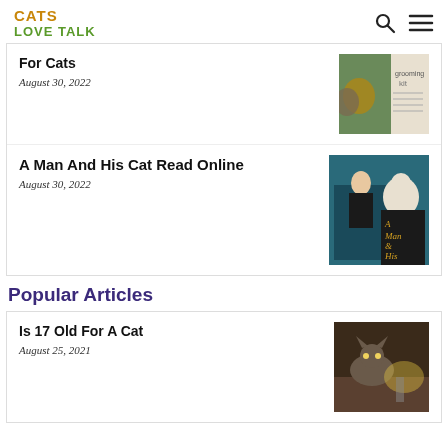CATS LOVE TALK
For Cats
August 30, 2022
[Figure (photo): A cat grooming kit with two cats on the packaging]
A Man And His Cat Read Online
August 30, 2022
[Figure (photo): Book cover showing a man at piano with a cat, titled A Man & His]
Popular Articles
Is 17 Old For A Cat
August 25, 2021
[Figure (photo): A cat sitting on a surface with light shining]